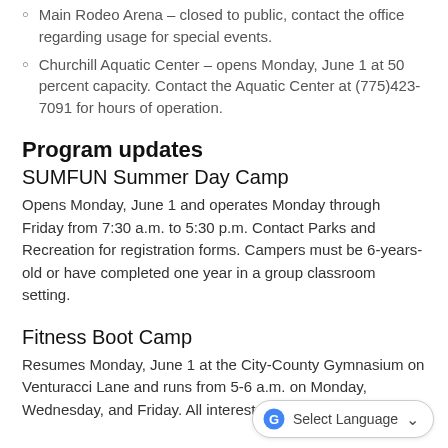Main Rodeo Arena – closed to public, contact the office regarding usage for special events.
Churchill Aquatic Center – opens Monday, June 1 at 50 percent capacity. Contact the Aquatic Center at (775)423-7091 for hours of operation.
Program updates
SUMFUN Summer Day Camp
Opens Monday, June 1 and operates Monday through Friday from 7:30 a.m. to 5:30 p.m. Contact Parks and Recreation for registration forms. Campers must be 6-years-old or have completed one year in a group classroom setting.
Fitness Boot Camp
Resumes Monday, June 1 at the City-County Gymnasium on Venturacci Lane and runs from 5-6 a.m. on Monday, Wednesday, and Friday. All interested participants welcome.